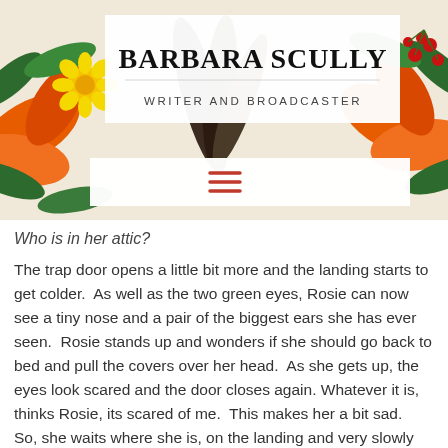[Figure (illustration): Floral header banner with orange lilies, yellow daisies, green leaves, dark feathers, and red berries on a white background, with a white title box overlay containing 'BARBARA SCULLY' and 'WRITER AND BROADCASTER', and a white navigation bar with a red hamburger menu icon below.]
Who is in her attic?
The trap door opens a little bit more and the landing starts to get colder.  As well as the two green eyes, Rosie can now see a tiny nose and a pair of the biggest ears she has ever seen.  Rosie stands up and wonders if she should go back to bed and pull the covers over her head.  As she gets up, the eyes look scared and the door closes again. Whatever it is, thinks Rosie, its scared of me.  This makes her a bit sad.  So, she waits where she is, on the landing and very slowly the door begins to open again.  As the eyes come into view, Rosie thinks that she should say